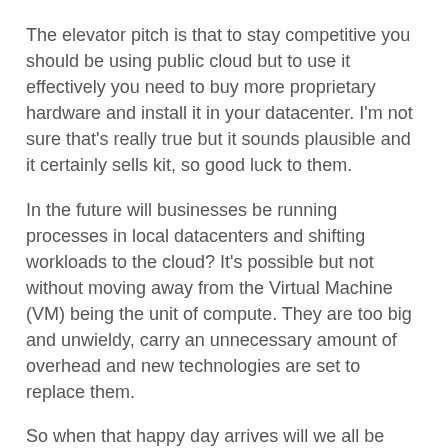The elevator pitch is that to stay competitive you should be using public cloud but to use it effectively you need to buy more proprietary hardware and install it in your datacenter. I'm not sure that's really true but it sounds plausible and it certainly sells kit, so good luck to them.
In the future will businesses be running processes in local datacenters and shifting workloads to the cloud? It's possible but not without moving away from the Virtual Machine (VM) being the unit of compute. They are too big and unwieldy, carry an unnecessary amount of overhead and new technologies are set to replace them.
So when that happy day arrives will we all be running a hybrid cloud?
Maybe but it's more likely that somebody in marketing would have come up with a better buzzword and the world would have have moved on.
So there you go.  I may be wrong, I may be right - all I know